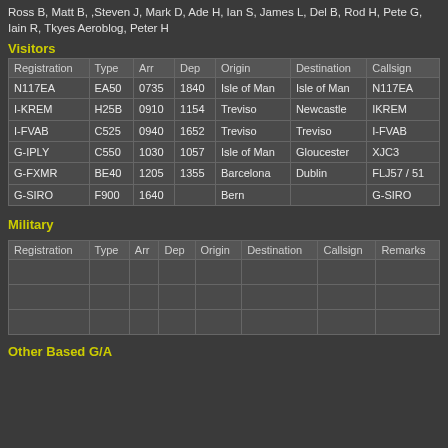Ross B, Matt B, ,Steven J, Mark D, Ade H, Ian S, James L, Del B, Rod H, Pete G, Iain R, Tkyes Aeroblog, Peter H
Visitors
| Registration | Type | Arr | Dep | Origin | Destination | Callsign |
| --- | --- | --- | --- | --- | --- | --- |
| N117EA | EA50 | 0735 | 1840 | Isle of Man | Isle of Man | N117EA |
| I-KREM | H25B | 0910 | 1154 | Treviso | Newcastle | IKREM |
| I-FVAB | C525 | 0940 | 1652 | Treviso | Treviso | I-FVAB |
| G-IPLY | C550 | 1030 | 1057 | Isle of Man | Gloucester | XJC3 |
| G-FXMR | BE40 | 1205 | 1355 | Barcelona | Dublin | FLJ57 / 51 |
| G-SIRO | F900 | 1640 |  | Bern |  | G-SIRO |
Military
| Registration | Type | Arr | Dep | Origin | Destination | Callsign | Remarks |
| --- | --- | --- | --- | --- | --- | --- | --- |
|  |  |  |  |  |  |  |  |
|  |  |  |  |  |  |  |  |
|  |  |  |  |  |  |  |  |
Other Based G/A